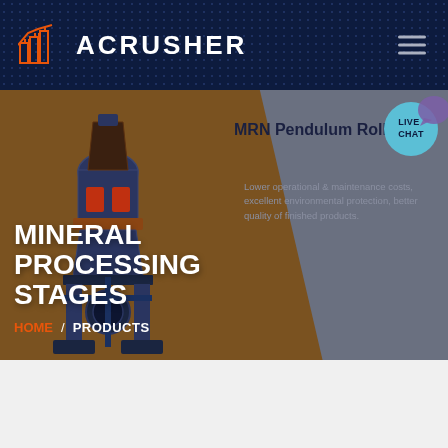ACRUSHER
MINERAL PROCESSING STAGES
MRN Pendulum Rolle
Lower operational & maintenance costs, excellent environmental protection, better quality of finished products.
HOME / PRODUCTS
[Figure (screenshot): Screenshot of ACRUSHER website showing mineral processing stages page with a pendulum roller mill machine image on a brown/grey hero background]